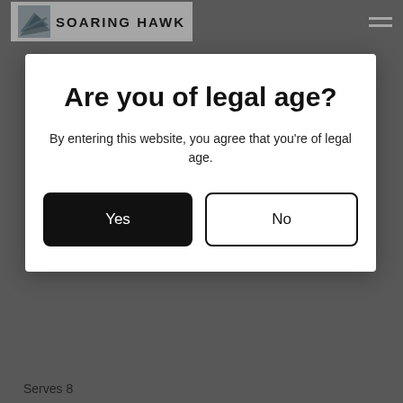SOARING HAWK
Are you of legal age?
By entering this website, you agree that you're of legal age.
Yes
No
Serves 8